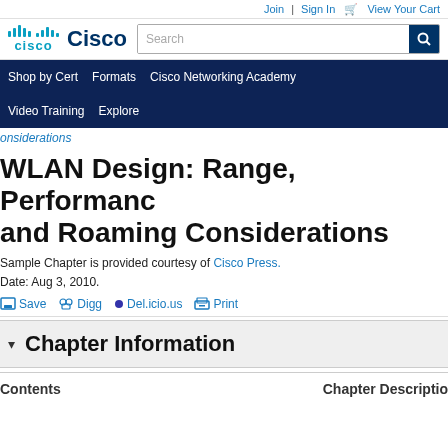Join  |  Sign In  🛒  View Your Cart
[Figure (logo): Cisco logo with teal bars and 'cisco' text, followed by 'Cisco' brand name in dark blue, and a search box]
Shop by Cert   Formats   Cisco Networking Academy   Video Training   Explore
Considerations
WLAN Design: Range, Performance, and Roaming Considerations
Sample Chapter is provided courtesy of Cisco Press.
Date: Aug 3, 2010.
Save   Digg   Del.icio.us   Print
Chapter Information
Contents   Chapter Description